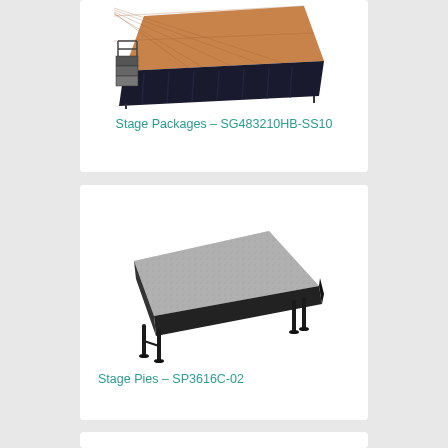[Figure (photo): Stage package product photo showing a raised portable stage with brown top surface, black skirting, and metal stairs]
Stage Packages – SG483210HB-SS10
[Figure (photo): Stage pie product photo showing a trapezoidal/pie-shaped stage section with grey carpet top and black metal legs]
Stage Pies – SP3616C-02
[Figure (photo): Partial view of a third product card at bottom of page]